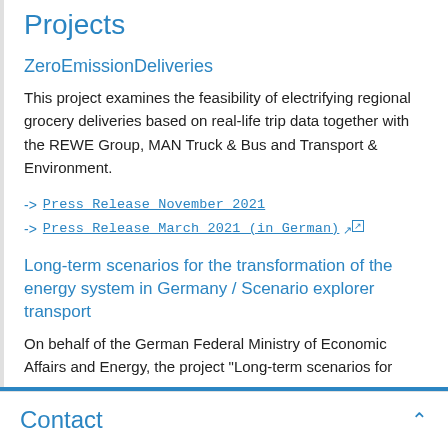Projects
ZeroEmissionDeliveries
This project examines the feasibility of electrifying regional grocery deliveries based on real-life trip data together with the REWE Group, MAN Truck & Bus and Transport & Environment.
-> Press Release November 2021
-> Press Release March 2021 (in German) [external link]
Long-term scenarios for the transformation of the energy system in Germany / Scenario explorer transport
On behalf of the German Federal Ministry of Economic Affairs and Energy, the project “Long-term scenarios for
Contact